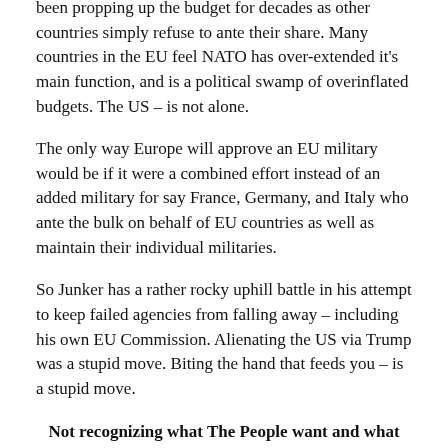been propping up the budget for decades as other countries simply refuse to ante their share. Many countries in the EU feel NATO has over-extended it's main function, and is a political swamp of overinflated budgets. The US – is not alone.
The only way Europe will approve an EU military would be if it were a combined effort instead of an added military for say France, Germany, and Italy who ante the bulk on behalf of EU countries as well as maintain their individual militaries.
So Junker has a rather rocky uphill battle in his attempt to keep failed agencies from falling away – including his own EU Commission. Alienating the US via Trump was a stupid move. Biting the hand that feeds you – is a stupid move.
Not recognizing what The People want and what The People are sick of – will earn him the same fate as Hillary/Soros. He would be wise to be humble and to learn.